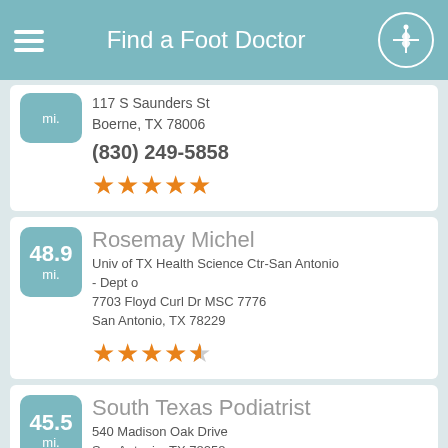Find a Foot Doctor
117 S Saunders St
Boerne, TX 78006
(830) 249-5858
[Figure (other): 5 orange stars rating]
48.9 mi. - Rosemay Michel
Univ of TX Health Science Ctr-San Antonio - Dept o
7703 Floyd Curl Dr MSC 7776
San Antonio, TX 78229
[Figure (other): 4.5 orange stars rating]
45.5 mi. - South Texas Podiatrist
540 Madison Oak Drive
San Antonio, TX 78258